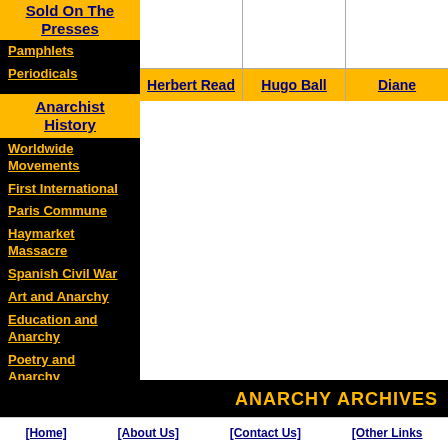Sold On The Presses
Pamphlets
Periodicals
Anarchist History
Worldwide Movements
First International
Paris Commune
Haymarket Massacre
Spanish Civil War
Art and Anarchy
Education and Anarchy
Poetry and Anarchy
Bibliography
Timeline
[Figure (other): Grid of anarchist figures - Herbert Read, Hugo Ball, Diane (partially visible)]
ANARCHY ARCHIVES
[Home] [About Us] [Contact Us] [Other Links]